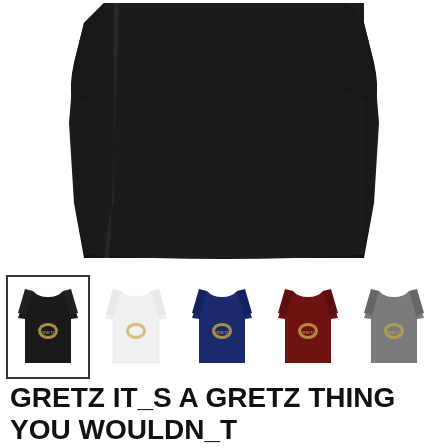[Figure (photo): Main product image: bottom half of a black t-shirt on white background, showing the torso/body and hem area of the shirt]
[Figure (photo): Row of 5 t-shirt color variants: black (selected, with border), white, navy blue, dark red/maroon, and grey — each showing the same t-shirt design with a badge/crest logo]
GRETZ IT_S A GRETZ THING YOU WOULDN_T UNDERSTAND T SHIRTS FOR MEN AND WOMEN